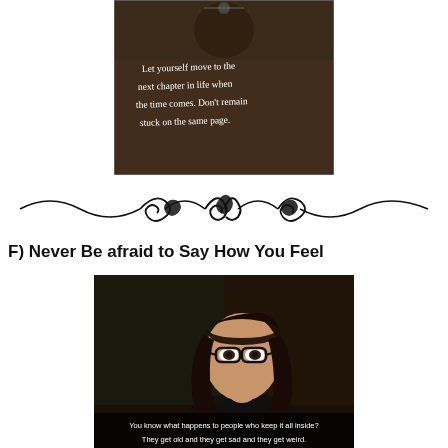[Figure (photo): Dark photo with handwritten white text reading: 'Let yourself move to the next chapter in life when the time comes. Don't remain stuck on the same page.']
[Figure (illustration): Decorative black ornamental divider with swirling flourishes and curls, symmetrical design]
F) Never Be afraid to Say How You Feel
[Figure (photo): Photo of a dark-haired woman with glasses, with subtitle text: 'You know what happens to people who keep it all inside? They get old and they get sad and they get weird.']